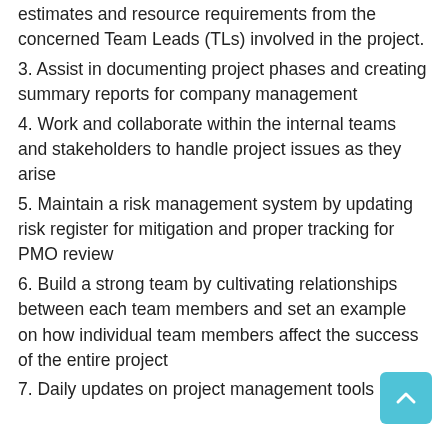estimates and resource requirements from the concerned Team Leads (TLs) involved in the project.
3. Assist in documenting project phases and creating summary reports for company management
4. Work and collaborate within the internal teams and stakeholders to handle project issues as they arise
5. Maintain a risk management system by updating risk register for mitigation and proper tracking for PMO review
6. Build a strong team by cultivating relationships between each team members and set an example on how individual team members affect the success of the entire project
7. Daily updates on project management tools